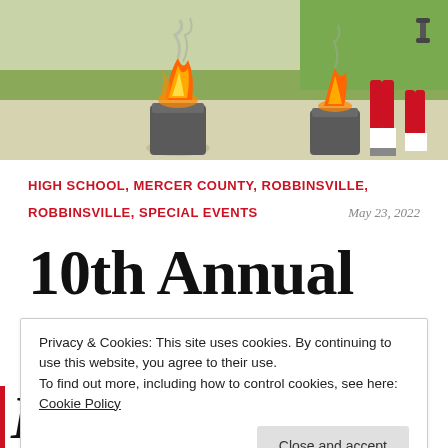[Figure (photo): Outdoor photo showing burning barrels on a concrete path with people in athletic uniforms and grass in background]
HIGH SCHOOL, MERCER COUNTY, ROBBINSVILLE,
ROBBINSVILLE, SPECIAL EVENTS
May 23, 2022
10th Annual
Privacy & Cookies: This site uses cookies. By continuing to use this website, you agree to their use.
To find out more, including how to control cookies, see here: Cookie Policy
Close and accept
New Ar...